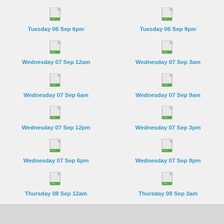[Figure (illustration): File icon for Tuesday 06 Sep 6pm]
Tuesday 06 Sep 6pm
[Figure (illustration): File icon for Tuesday 06 Sep 9pm]
Tuesday 06 Sep 9pm
[Figure (illustration): File icon for Wednesday 07 Sep 12am]
Wednesday 07 Sep 12am
[Figure (illustration): File icon for Wednesday 07 Sep 3am]
Wednesday 07 Sep 3am
[Figure (illustration): File icon for Wednesday 07 Sep 6am]
Wednesday 07 Sep 6am
[Figure (illustration): File icon for Wednesday 07 Sep 9am]
Wednesday 07 Sep 9am
[Figure (illustration): File icon for Wednesday 07 Sep 12pm]
Wednesday 07 Sep 12pm
[Figure (illustration): File icon for Wednesday 07 Sep 3pm]
Wednesday 07 Sep 3pm
[Figure (illustration): File icon for Wednesday 07 Sep 6pm]
Wednesday 07 Sep 6pm
[Figure (illustration): File icon for Wednesday 07 Sep 9pm]
Wednesday 07 Sep 9pm
[Figure (illustration): File icon for Thursday 08 Sep 12am]
Thursday 08 Sep 12am
[Figure (illustration): File icon for Thursday 08 Sep 3am]
Thursday 08 Sep 3am